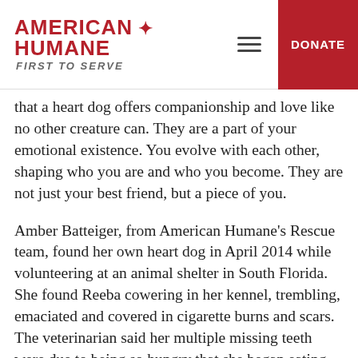AMERICAN HUMANE FIRST TO SERVE
that a heart dog offers companionship and love like no other creature can. They are a part of your emotional existence. You evolve with each other, shaping who you are and who you become. They are not just your best friend, but a piece of you.
Amber Batteiger, from American Humane’s Rescue team, found her own heart dog in April 2014 while volunteering at an animal shelter in South Florida. She found Reeba cowering in her kennel, trembling, emaciated and covered in cigarette burns and scars. The veterinarian said her multiple missing teeth were due to being so hungry that she began eating rocks, trying desperately to survive. She was heartworm positive, terrified and completely heartbroken. The day Reeba was slated for euthanasia due to her condition, Amber made the unexpected